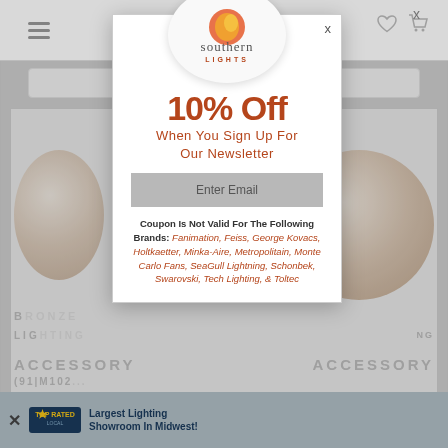[Figure (screenshot): Background website page showing navigation bar with hamburger menu, heart and cart icons, search bar, and product listing area with decorative globe/ball lighting fixtures]
[Figure (logo): Southern Lights logo — oval shape with orange/amber sun graphic above the text 'southern LIGHTS']
10% Off
When You Sign Up For Our Newsletter
Enter Email
Coupon Is Not Valid For The Following Brands: Fanimation, Feiss, George Kovacs, Holtkaetter, Minka-Aire, Metropolitain, Monte Carlo Fans, SeaGull Lightning, Schonbek, Swarovski, Tech Lighting, & Toltec
[Figure (screenshot): Bottom banner showing X close button, Top Rated Local badge, and text 'Largest Lighting Showroom In Midwest!']